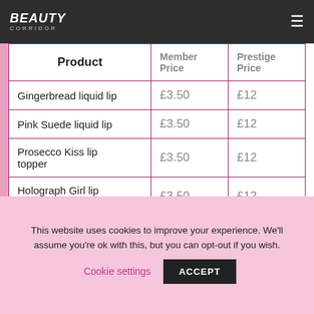Beauty Corridor
| Product | Member Price | Prestige Price |
| --- | --- | --- |
| Gingerbread liquid lip | £3.50 | £12 |
| Pink Suede liquid lip | £3.50 | £12 |
| Prosecco Kiss lip topper | £3.50 | £12 |
| Holograph Girl lip topper | £3.50 | £12 |
This website uses cookies to improve your experience. We'll assume you're ok with this, but you can opt-out if you wish.
Cookie settings  ACCEPT